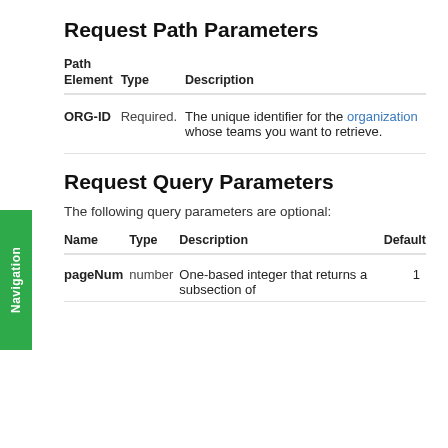Request Path Parameters
| Path Element | Type | Description |
| --- | --- | --- |
| ORG-ID | Required. | The unique identifier for the organization whose teams you want to retrieve. |
Request Query Parameters
The following query parameters are optional:
| Name | Type | Description | Default |
| --- | --- | --- | --- |
| pageNum | number | One-based integer that returns a subsection of results. | 1 |